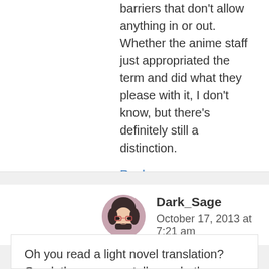barriers that don't allow anything in or out. Whether the anime staff just appropriated the term and did what they please with it, I don't know, but there's definitely still a distinction.
Reply
Dark_Sage
October 17, 2013 at 7:21 am
Oh you read a light novel translation? Good, then you can tell me whether or not the